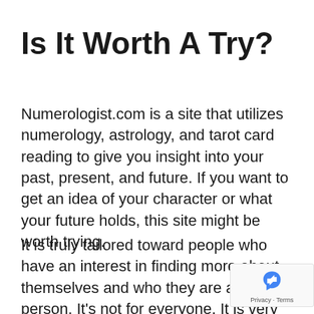Is It Worth A Try?
Numerologist.com is a site that utilizes numerology, astrology, and tarot card reading to give you insight into your past, present, and future. If you want to get an idea of your character or what your future holds, this site might be worth trying.
It is truly tailored toward people who have an interest in finding more about themselves and who they are as a person. It’s not for everyone. It is very important to understand that the readings on Numerologist do not any science or psychology; they’re based entirely on the meanings of numbers and